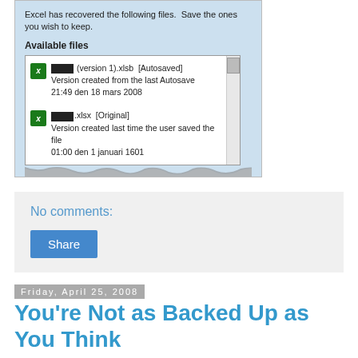[Figure (screenshot): Excel document recovery dialog showing available files: an autosaved .xlsb version and an original .xlsx version]
No comments:
Share
Friday, April 25, 2008
You're Not as Backed Up as You Think
Ziff Davis Enterprise has a white paper about online backup, SaaS backup, cloud backup or whatever you want to call it. I've used Mozy for quite a while and think it's really convenient. My Outlook PST files, Visual Studio projects,